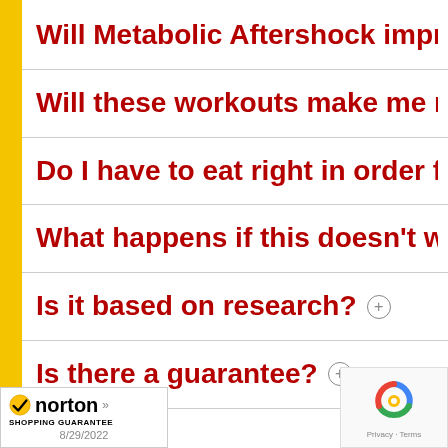Will Metabolic Aftershock improve m
Will these workouts make me more s
Do I have to eat right in order for this
What happens if this doesn't work fo
Is it based on research? +
Is there a guarantee? +
[Figure (logo): Norton Shopping Guarantee badge dated 8/29/2022]
[Figure (other): reCAPTCHA badge with Privacy and Terms links]